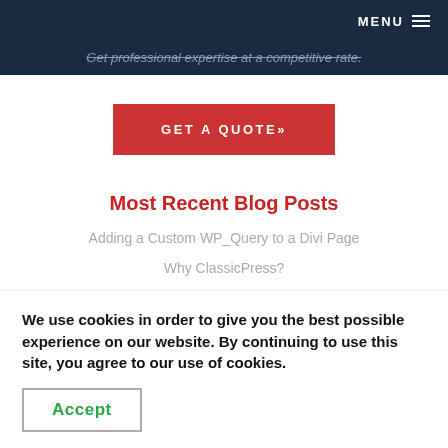MENU
Get professional expertise at a competitive rate.
GET A QUOTE»
Most Recent Blog Posts
Adding a Custom WP_Query to a Divi Page
Why ClassicPress?
ClassicPress is All About Business Websites and Developers
Evo Has Moved to Bernalillo
Social media may be harmful to your personal well-being
We use cookies in order to give you the best possible experience on our website. By continuing to use this site, you agree to our use of cookies.
Accept